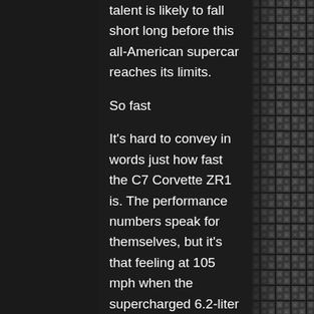talent is likely to fall short long before this all-American supercar reaches its limits.
So fast
It's hard to convey in words just how fast the C7 Corvette ZR1 is. The performance numbers speak for themselves, but it's that feeling at 105 mph when the supercharged 6.2-liter V-8 is firing at full tilt and long hood is surging forward at a rate that is nearly unbelievable. The power seems to build forever and come from a never-ending well.
[Figure (photo): Close-up of carbon fiber weave texture, dark grey/black coloring, filling the right side of the page]